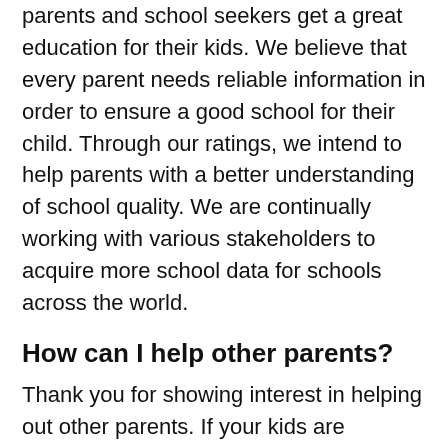parents and school seekers get a great education for their kids. We believe that every parent needs reliable information in order to ensure a good school for their child. Through our ratings, we intend to help parents with a better understanding of school quality. We are continually working with various stakeholders to acquire more school data for schools across the world.
How can I help other parents?
Thank you for showing interest in helping out other parents. If your kids are studying or have studied in any of the above schools, a simple verification of the school page's content and rating & review on our website can help